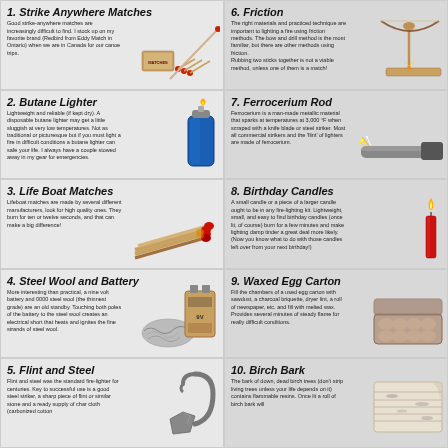1. Strike Anywhere Matches - Good strike-anywhere matches are increasingly difficult to find. I stock up on my favorite brand (Redbird from Eddy Match in Ontario) when we are in Canada for our canoe trips.
6. Friction - The right materials and practiced technique are important to lighting a fire using friction methods. The bow and drill method is the most familiar, but there are other methods using friction. Rubbing two sticks together is not a viable method, unless one of them is a match!
2. Butane Lighter - Lightweight and reliable (if kept dry). A disposable butane lighter may get a little sluggish at very low temperatures. Not as traditional or picturesque but if you must light a fire in difficult conditions a butane lighter can safe your life. I always have a couple stowed away in my gear for emergencies.
7. Ferrocerium Rod - Ferrocerium is a man-made metallic material that sparks at temperatures at 3,000 °F when scraped with a knife blade or steel striker. Most all commercial strikers and the 'flint' of lighters are made of ferrocerium.
3. Life Boat Matches - Lifeboat matches are made by several different manufacturers, look for high quality ones. They burn for ten or twelve seconds, and that can make a big difference!
8. Birthday Candles - A small candle or a piece of a larger candle ought to be in any fire-lighting kit. Lightweight, small, and easy to find birthday candles (once lit, of course) burn for a few minutes and make lighting damp tinder a great deal more likely. (Now you know what to do with those candles left over from your next birthday!)
4. Steel Wool and Battery - More interesting than practical, a nine volt battery and 0000 steel wool (the thinnest grade) are an old standby. Touching both poles of the battery to the steel wool creates an electrical short that heats and ignites the fine strands of steel wool.
9. Waxed Egg Carton - Fill the chambers of a used egg carton with sawdust, a charcoal briquette, dryer lint, a roll of newspaper, etc. and fill with melted wax. Provides several minutes of steady flame for really difficult conditions.
5. Flint and Steel - Flint and steel was the standard fire-lighter for centuries. Key to successful use is a good steel striker, a sharp piece of flint or similar stone and a ready supply of char cloth (carbonized cotton
10. Birch Bark - The bark of down, dead birch trees (don't strip living trees unless your life depends on it) contains flammable resins. Once lit a roll of birch bark will